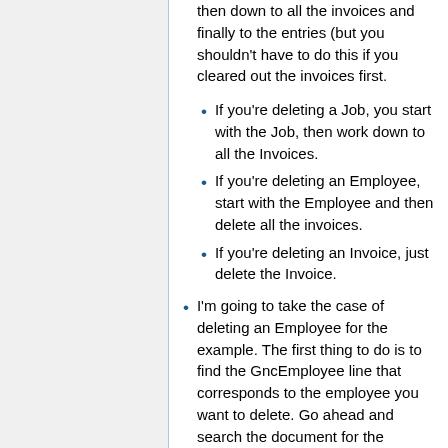then down to all the invoices and finally to the entries (but you shouldn't have to do this if you cleared out the invoices first.
If you're deleting a Job, you start with the Job, then work down to all the Invoices.
If you're deleting an Employee, start with the Employee and then delete all the invoices.
If you're deleting an Invoice, just delete the Invoice.
I'm going to take the case of deleting an Employee for the example. The first thing to do is to find the GncEmployee line that corresponds to the employee you want to delete. Go ahead and search the document for the